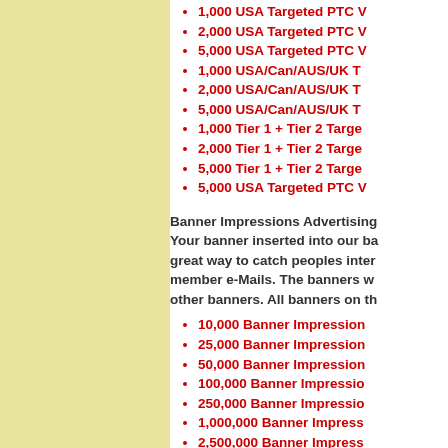1,000 USA Targeted PTC V...
2,000 USA Targeted PTC V...
5,000 USA Targeted PTC V...
1,000 USA/Can/AUS/UK T...
2,000 USA/Can/AUS/UK T...
5,000 USA/Can/AUS/UK T...
1,000 Tier 1 + Tier 2 Targe...
2,000 Tier 1 + Tier 2 Targe...
5,000 Tier 1 + Tier 2 Targe...
5,000 USA Targeted PTC V...
Banner Impressions Advertising... Your banner inserted into our ba... great way to catch peoples inter... member e-Mails. The banners w... other banners. All banners on th...
10,000 Banner Impression...
25,000 Banner Impression...
50,000 Banner Impression...
100,000 Banner Impressio...
250,000 Banner Impressio...
1,000,000 Banner Impress...
2,500,000 Banner Impress...
10,000,000 Banner Impres...
1 Week 728x90 Super Top...
1 Month 728x90 Super Top...